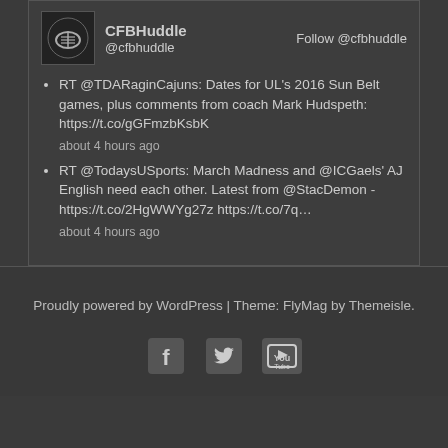[Figure (logo): CFBHuddle football logo icon with football graphic]
CFBHuddle @cfbhuddle  Follow @cfbhuddle
RT @TDARaginCajuns: Dates for UL's 2016 Sun Belt games, plus comments from coach Mark Hudspeth: https://t.co/gGFmzbKsbK about 4 hours ago
RT @TodaysUSports: March Madness and @ICGaels' AJ English need each other. Latest from @StacDemon - https://t.co/2HgWWYg27z https://t.co/7q… about 4 hours ago
Proudly powered by WordPress | Theme: FlyMag by Themeisle.